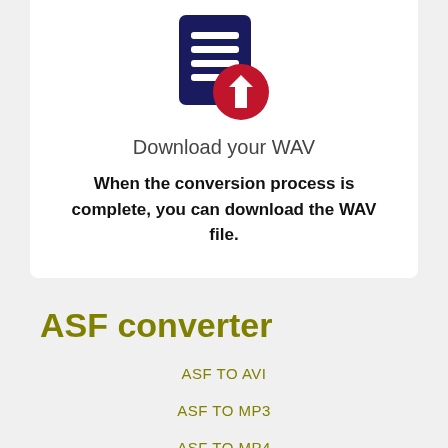[Figure (illustration): Document icon with a dark navy blue file/page with lines, overlaid with a red circle containing a white downward arrow, representing a download action.]
Download your WAV
When the conversion process is complete, you can download the WAV file.
ASF converter
ASF TO AVI
ASF TO MP3
ASF TO MP4